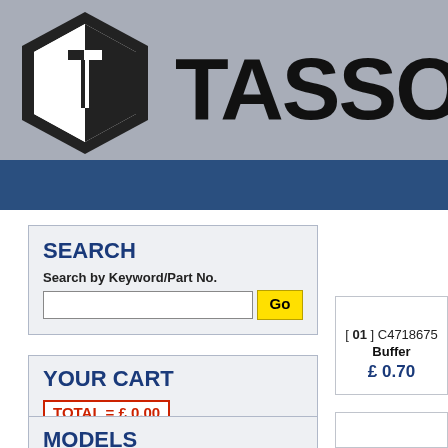[Figure (logo): Tasso logo: hexagonal shield with letter T, black and white, beside large bold text 'TASSO P' on grey background]
SEARCH
Search by Keyword/Part No.
YOUR CART
TOTAL = £ 0.00
SHOP HOME
[ 01 ] C4718675 Buffer £ 0.70
MODELS